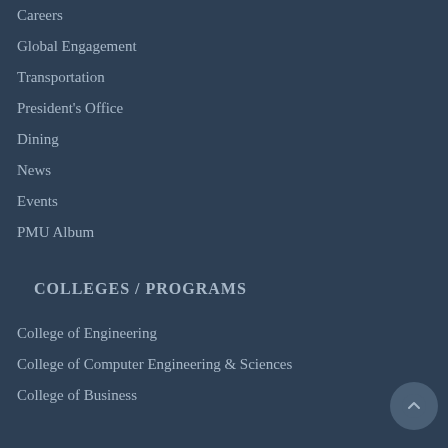Careers
Global Engagement
Transportation
President's Office
Dining
News
Events
PMU Album
COLLEGES / PROGRAMS
College of Engineering
College of Computer Engineering & Sciences
College of Business